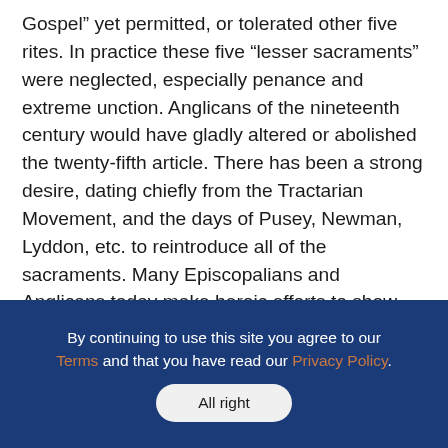Gospel” yet permitted, or tolerated other five rites. In practice these five “lesser sacraments” were neglected, especially penance and extreme unction. Anglicans of the nineteenth century would have gladly altered or abolished the twenty-fifth article. There has been a strong desire, dating chiefly from the Tractarian Movement, and the days of Pusey, Newman, Lyddon, etc. to reintroduce all of the sacraments. Many Episcopalians and Anglicans today make heroic efforts to show that the twenty-fifth article repudiated the lesser sacraments only in so far as they had “grown of the corrupt following of the Apostles, and were administered `more Romamensium’”, after the Roman fashion. Thus Morgan Dix reminded his
By continuing to use this site you agree to our Terms and that you have read our Privacy Policy.
All right